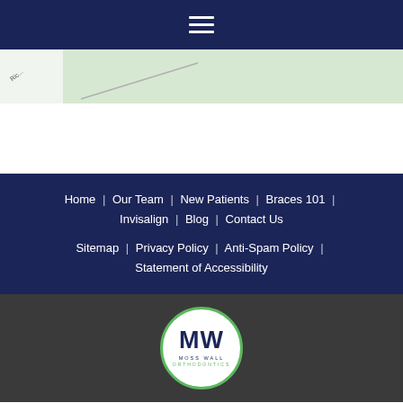Navigation menu (hamburger icon)
[Figure (map): Street map snippet showing a road (Ric...) in green area]
Home | Our Team | New Patients | Braces 101 | Invisalign | Blog | Contact Us
Sitemap | Privacy Policy | Anti-Spam Policy | Statement of Accessibility
[Figure (logo): Moss Wall Orthodontics circular logo with MW initials, green border on dark grey background]